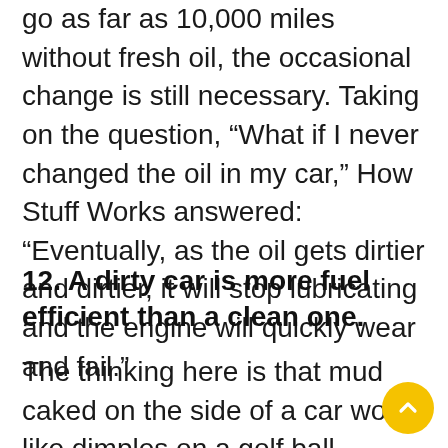go as far as 10,000 miles without fresh oil, the occasional change is still necessary. Taking on the question, “What if I never changed the oil in my car,” How Stuff Works answered: “Eventually, as the oil gets dirtier and dirtier, it will stop lubricating and the engine will quickly wear and fail.”
12. A dirty car is more fuel efficient than a clean one.
The thinking here is that mud caked on the side of a car works like dimples on a golf ball, reducing drag. Mythbusters